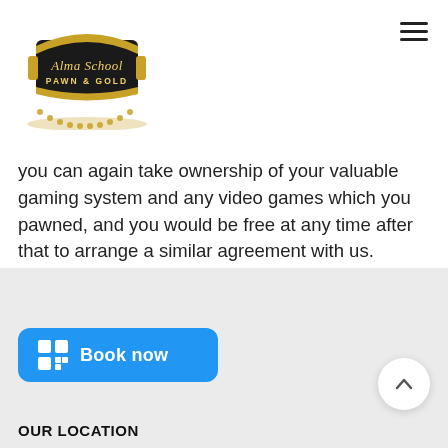[Figure (logo): Alma School Pawn & Gold logo — black shield shape with gold banner and laurel wreath]
you can again take ownership of your valuable gaming system and any video games which you pawned, and you would be free at any time after that to arrange a similar agreement with us.
[Figure (other): Blue rounded rectangle button with grid icon and text 'Book now']
[Figure (other): Circular white button with upward chevron arrow for scrolling to top]
OUR LOCATION